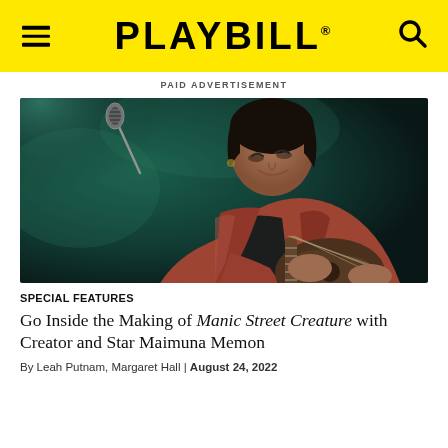PLAYBILL
PAID ADVERTISEMENT
[Figure (photo): A performer on stage playing guitar and smiling, wearing a red/pink jacket and black top, with a microphone in the background and green stage lighting.]
SPECIAL FEATURES
Go Inside the Making of Manic Street Creature with Creator and Star Maimuna Memon
By Leah Putnam, Margaret Hall | August 24, 2022